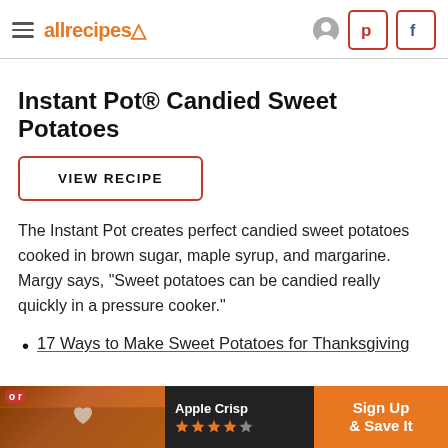allrecipes
Instant Pot® Candied Sweet Potatoes
VIEW RECIPE
The Instant Pot creates perfect candied sweet potatoes cooked in brown sugar, maple syrup, and margarine. Margy says, "Sweet potatoes can be candied really quickly in a pressure cooker."
17 Ways to Make Sweet Potatoes for Thanksgiving
[Figure (other): Advertisement banner showing Apple Crisp recipe with food photo, star rating, and Sign Up & Save It button]